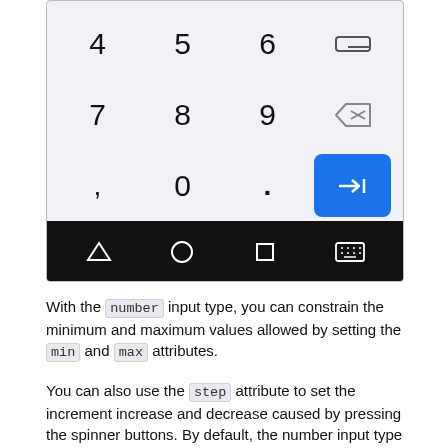[Figure (screenshot): A numeric keyboard on a mobile device showing keys 4,5,6,backspace in first row; 7,8,9,delete in second row; comma,0,period,tab/next in third row; and a bottom navigation bar with back, home, recents, and keyboard icons on black background.]
With the number input type, you can constrain the minimum and maximum values allowed by setting the min and max attributes.
You can also use the step attribute to set the increment increase and decrease caused by pressing the spinner buttons. By default, the number input type only validates if the number is an integer. To allow float numbers, specify